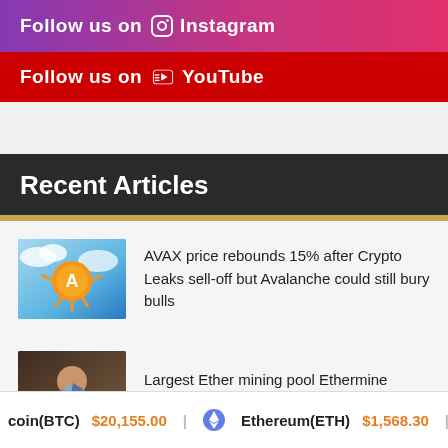Follow us on Instagram
Follow us on YouTube
Recent Articles
AVAX price rebounds 15% after Crypto Leaks sell-off but Avalanche could still bury bulls
[Figure (illustration): AVAX cryptocurrency illustration with orange coin character on blue sky background]
Largest Ether mining pool Ethermine opens new ETH staking service
[Figure (illustration): Ethereum mining illustration showing character holding blue crystals/diamonds]
coin(BTC) $20,155.00  Ethereum(ETH) $1,568.30  XRP(XRP